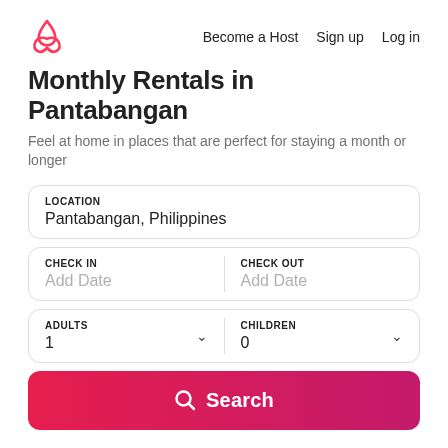Airbnb logo | Become a Host  Sign up  Log in
Monthly Rentals in Pantabangan
Feel at home in places that are perfect for staying a month or longer
LOCATION
Pantabangan, Philippines
CHECK IN
Add Date | CHECK OUT
Add Date
ADULTS
1 | CHILDREN
0
Search